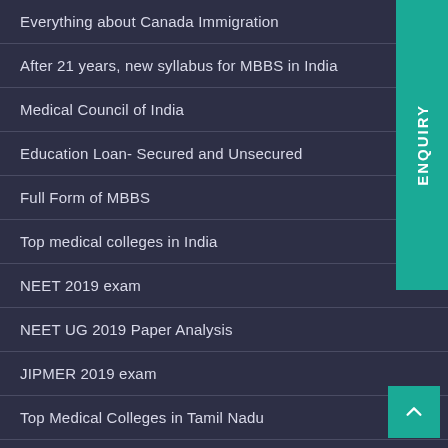Everything about Canada Immigration
After 21 years, new syllabus for MBBS in India
Medical Council of India
Education Loan- Secured and Unsecured
Full Form of MBBS
Top medical colleges in India
NEET 2019 exam
NEET UG 2019 Paper Analysis
JIPMER 2019 exam
Top Medical Colleges in Tamil Nadu
Top Medical Colleges in Kolkata